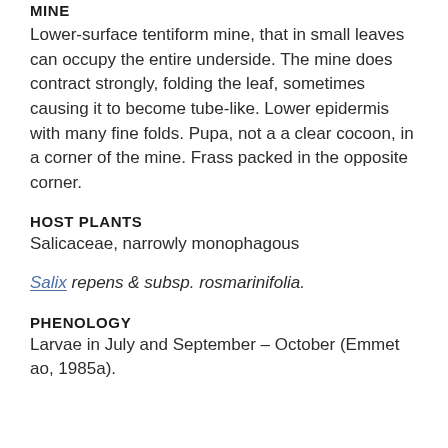MINE
Lower-surface tentiform mine, that in small leaves can occupy the entire underside. The mine does contract strongly, folding the leaf, sometimes causing it to become tube-like. Lower epidermis with many fine folds. Pupa, not a a clear cocoon, in a corner of the mine. Frass packed in the opposite corner.
HOST PLANTS
Salicaceae, narrowly monophagous
Salix repens & subsp. rosmarinifolia.
PHENOLOGY
Larvae in July and September – October (Emmet ao, 1985a).